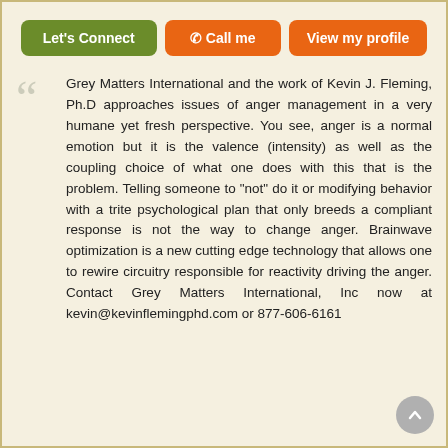[Figure (other): Three buttons: 'Let's Connect' (green), 'Call me' (orange), 'View my profile' (orange)]
Grey Matters International and the work of Kevin J. Fleming, Ph.D approaches issues of anger management in a very humane yet fresh perspective. You see, anger is a normal emotion but it is the valence (intensity) as well as the coupling choice of what one does with this that is the problem. Telling someone to "not" do it or modifying behavior with a trite psychological plan that only breeds a compliant response is not the way to change anger. Brainwave optimization is a new cutting edge technology that allows one to rewire circuitry responsible for reactivity driving the anger. Contact Grey Matters International, Inc now at kevin@kevinflemingphd.com or 877-606-6161